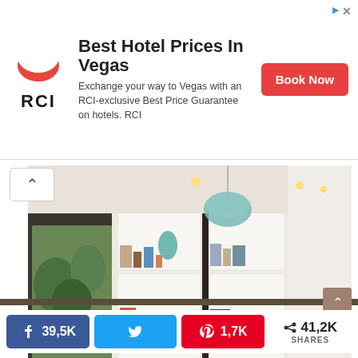[Figure (infographic): RCI advertisement banner with logo, text 'Best Hotel Prices In Vegas', subtext 'Exchange your way to Vegas with an RCI-exclusive Best Price Guarantee on hotels. RCI', and a red Book Now button]
[Figure (photo): Interior photo of a modern living/dining room with white Panton chairs around a round wooden table, white bookshelves, a teal glass pendant light, blue sofa and chair, and framed blue artwork on walls]
39,5K
1,7K
41,2K SHARES